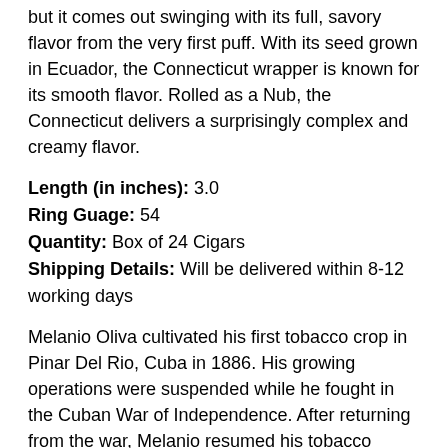but it comes out swinging with its full, savory flavor from the very first puff. With its seed grown in Ecuador, the Connecticut wrapper is known for its smooth flavor. Rolled as a Nub, the Connecticut delivers a surprisingly complex and creamy flavor.
Length (in inches): 3.0
Ring Guage: 54
Quantity: Box of 24 Cigars
Shipping Details: Will be delivered within 8-12 working days
Melanio Oliva cultivated his first tobacco crop in Pinar Del Rio, Cuba in 1886. His growing operations were suspended while he fought in the Cuban War of Independence. After returning from the war, Melanio resumed his tobacco growing operations. In the early l920's Melanio's son Facundo Oliva took over the growing operations. Facundo cultivated the Oliva family tobacco fields for several decades. As Cuba became overrun by the Communists, the tobacco